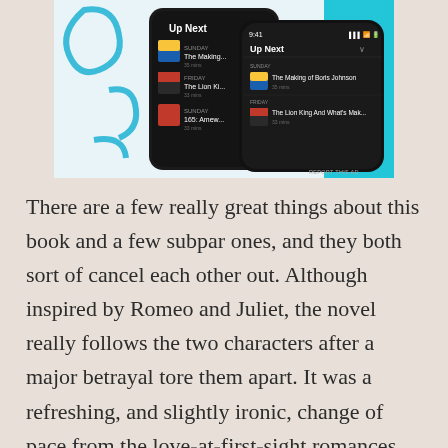[Figure (screenshot): Advertisement showing smartphone screens with a podcast app 'Up Next' queue displaying episodes including 'The Making of Boris Johnson' and 'The Lion King And What's Mak...' on a dark background with blue accents. A 'REPORT THIS AD' label appears at bottom right.]
There are a few really great things about this book and a few subpar ones, and they both sort of cancel each other out. Although inspired by Romeo and Juliet, the novel really follows the two characters after a major betrayal tore them apart. It was a refreshing, and slightly ironic, change of pace from the love-at-first-sight romances that plagued both the original and our modern YA fantasy. Even the side characters felt distinct. Additionally, there are several small but telling moments of Juliette feeling stuck between the (oftentimes arrogant) modernization and progression spurred on by the West and the more